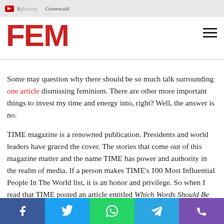FEM
Some may question why there should be so much talk surrounding one article dismissing feminism. There are other more important things to invest my time and energy into, right? Well, the answer is no.
TIME magazine is a renowned publication. Presidents and world leaders have graced the cover. The stories that come out of this magazine matter and the name TIME has power and authority in the realm of media. If a person makes TIME's 100 Most Influential People In The World list, it is an honor and privilege. So when I read that TIME posted an article entitled Which Words Should Be Banned in 2015? I was completely taken aback and in outright denial they included the word 'feminist' on the list. Ironically, the same magazine apparently has Taylor Swift on the...
Social share bar: Facebook, Twitter, WhatsApp, Telegram, Phone